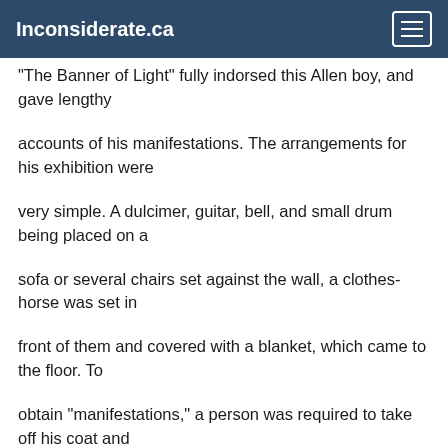Inconsiderate.ca
"The Banner of Light" fully indorsed this Allen boy, and gave lengthy
accounts of his manifestations. The arrangements for his exhibition were
very simple. A dulcimer, guitar, bell, and small drum being placed on a
sofa or several chairs set against the wall, a clothes-horse was set in
front of them and covered with a blanket, which came to the floor. To
obtain "manifestations," a person was required to take off his coat and